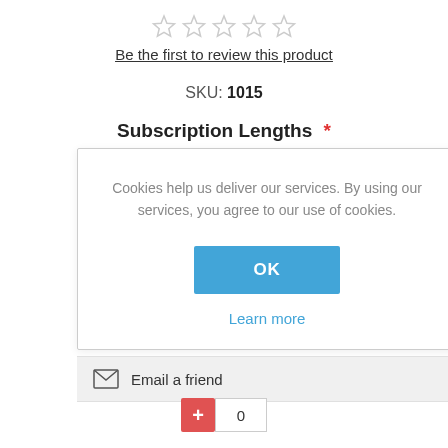[Figure (other): Five empty star rating icons in a row]
Be the first to review this product
SKU: 1015
Subscription Lengths *
Cookies help us deliver our services. By using our services, you agree to our use of cookies.
OK
Learn more
Email a friend
0